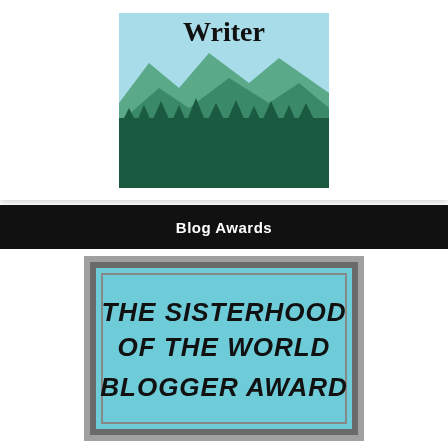[Figure (illustration): Blog logo image showing the word 'Writer' in serif font above a scenic mountain and forest silhouette illustration with teal/green color tones]
Blog Awards
[Figure (illustration): The Sisterhood of the World Blogger Award badge: a teal/light-blue rectangle with gray double border frame containing bold italic black text reading 'THE SISTERHOOD OF THE WORLD BLOGGER AWARD']